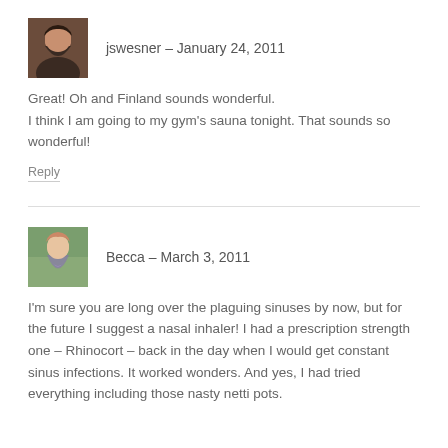[Figure (photo): Avatar photo of jswesner - woman with dark hair]
jswesner – January 24, 2011
Great! Oh and Finland sounds wonderful.
I think I am going to my gym's sauna tonight. That sounds so wonderful!
Reply
[Figure (photo): Avatar photo of Becca - woman in floral dress outdoors]
Becca – March 3, 2011
I'm sure you are long over the plaguing sinuses by now, but for the future I suggest a nasal inhaler! I had a prescription strength one – Rhinocort – back in the day when I would get constant sinus infections. It worked wonders. And yes, I had tried everything including those nasty netti pots.